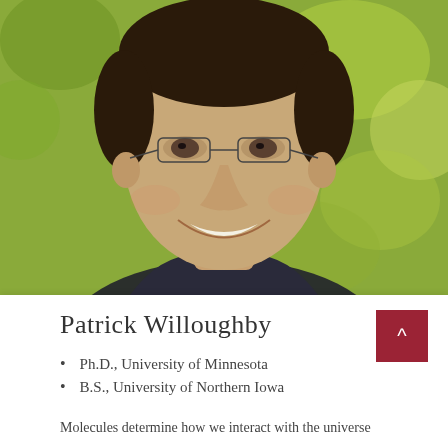[Figure (photo): Headshot of Patrick Willoughby, a young man with dark hair, wearing glasses and a dark shirt, smiling, with blurred green foliage in the background.]
Patrick Willoughby
Ph.D., University of Minnesota
B.S., University of Northern Iowa
Molecules determine how we interact with the universe